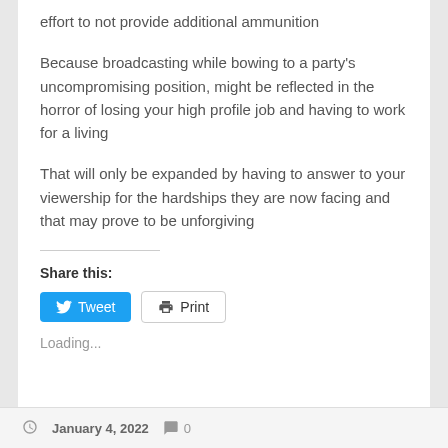effort to not provide additional ammunition
Because broadcasting while bowing to a party's uncompromising position, might be reflected in the horror of losing your high profile job and having to work for a living
That will only be expanded by having to answer to your viewership for the hardships they are now facing and that may prove to be unforgiving
Share this:
[Figure (other): Tweet button (blue) and Print button (outlined) for sharing content]
Loading...
January 4, 2022   0